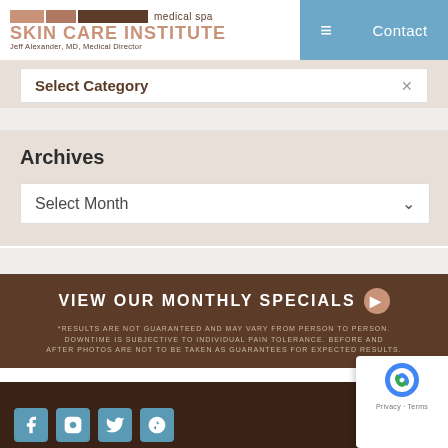[Figure (logo): Skin Care Institute medical spa logo with colored bars and Dr. Jeff Alexander name]
Contact
Select Category
Archives
Select Month
VIEW OUR MONTHLY SPECIALS
*RESULTS ARE NOT GUARANTEED AND MAY VARY FROM PERSON TO PERSON. DOWNTIME IS SUBJECTIVE TO INDIVIDUAL PAIN TOLERANCE. BEFORE AND AFTER PHOTOS ARE NOT TO BE TAKEN AS GUARANTEES FOR EXPECTED RESULTS.
[Figure (logo): reCAPTCHA badge with Google logo, Privacy and Terms links]